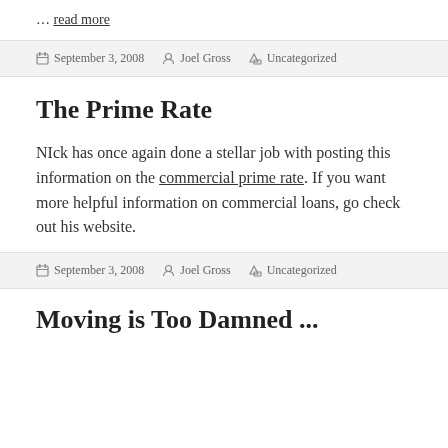… read more
September 3, 2008  Joel Gross  Uncategorized
The Prime Rate
NIck has once again done a stellar job with posting this information on the commercial prime rate. If you want more helpful information on commercial loans, go check out his website.
September 3, 2008  Joel Gross  Uncategorized
Moving is Too Damned ...